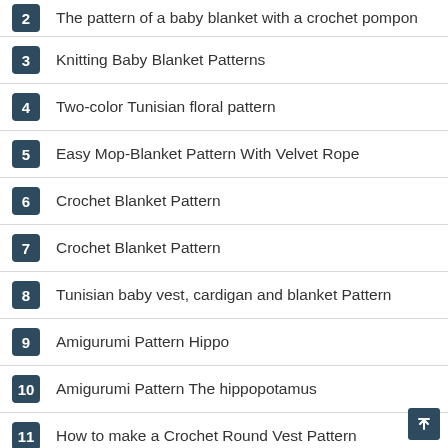2 The pattern of a baby blanket with a crochet pompon
3 Knitting Baby Blanket Patterns
4 Two-color Tunisian floral pattern
5 Easy Mop-Blanket Pattern With Velvet Rope
6 Crochet Blanket Pattern
7 Crochet Blanket Pattern
8 Tunisian baby vest, cardigan and blanket Pattern
9 Amigurumi Pattern Hippo
10 Amigurumi Pattern The hippopotamus
11 How to make a Crochet Round Vest Pattern
12 Very Beautiful Hello Kitty Baby Booties Pattern
13 The Easiest Boot – Bootie Pattern That Can Be Worn at Home
14 Easy and Practical Baby Girl Booties with Floral Pattern